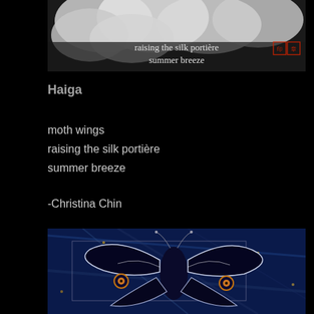[Figure (photo): Top haiga image showing clouds with haiku text overlay: 'raising the silk portière / summer breeze' with a red seal stamp in the upper right corner]
Haiga
moth wings
raising the silk portière
summer breeze
-Christina Chin
[Figure (illustration): Artistic digital illustration of a moth with dramatic blue, dark navy, and white colors with glowing eye-spots on wings, set against a blue textured background]